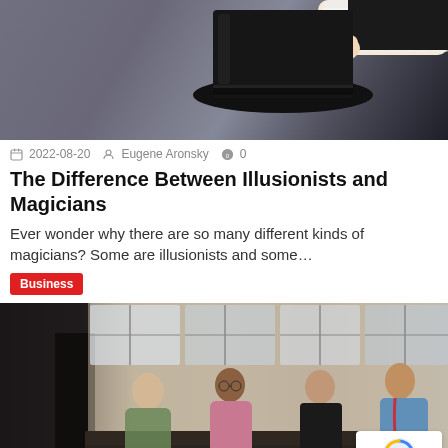[Figure (photo): A hand holding a black magician's top hat against a dark background]
2022-08-20  Eugene Aronsky  0
The Difference Between Illusionists and Magicians
Ever wonder why there are so many different kinds of magicians? Some are illusionists and some…
Business
[Figure (photo): Four diverse people sitting around a conference table in an office, engaged in a business meeting. One person has a prosthetic leg.]
2022-08-18  Eugene Aronsky  0